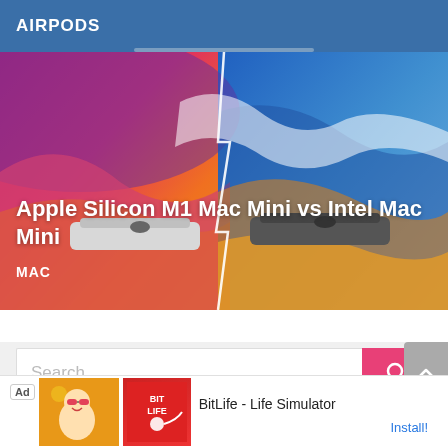AIRPODS
[Figure (screenshot): Hero image showing Apple Silicon M1 Mac Mini and Intel Mac Mini side by side against a colorful macOS Big Sur wallpaper background (red, orange, blue, purple gradient waves), with a lightning bolt dividing the image between the two devices.]
Apple Silicon M1 Mac Mini vs Intel Mac Mini
MAC
Search ...
[Figure (screenshot): Ad banner at the bottom showing BitLife - Life Simulator app with red icon and character illustration on orange background, with an Install! link.]